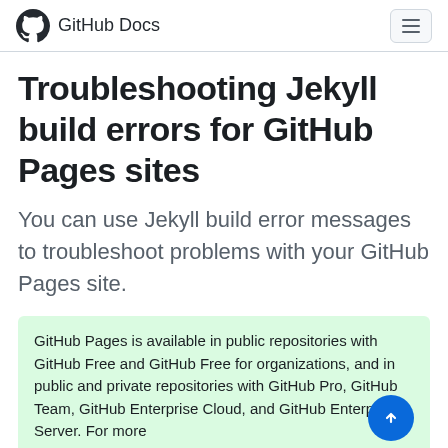GitHub Docs
Troubleshooting Jekyll build errors for GitHub Pages sites
You can use Jekyll build error messages to troubleshoot problems with your GitHub Pages site.
GitHub Pages is available in public repositories with GitHub Free and GitHub Free for organizations, and in public and private repositories with GitHub Pro, GitHub Team, GitHub Enterprise Cloud, and GitHub Enterprise Server. For more